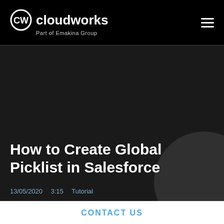cloudworks — Part of Emakina Group
How to Create Global Picklist in Salesforce
13/05/2020   3:15   Tutorial
CONTACT US